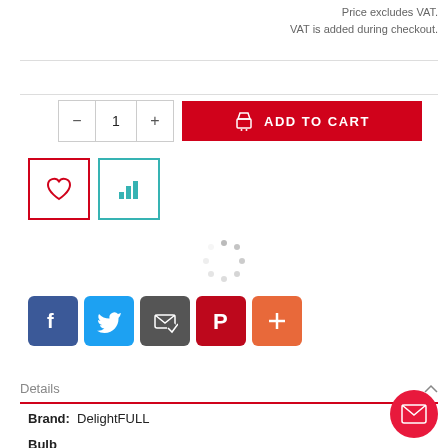Price excludes VAT.
VAT is added during checkout.
[Figure (screenshot): E-commerce product page section showing quantity selector, Add to Cart button, wishlist and compare icons, loading spinner, social sharing icons (Facebook, Twitter, Google, Pinterest, Plus), Details accordion section with Brand: DelightFULL, and a floating mail contact button.]